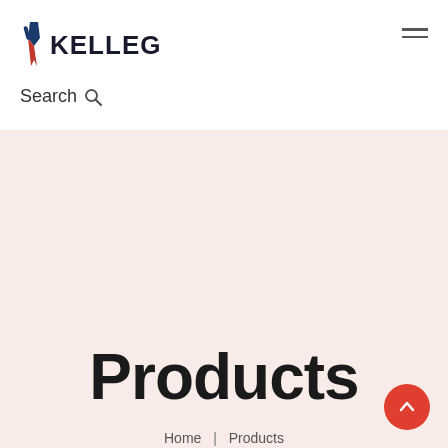[Figure (logo): Kelleg logo with tie icon and bold text KELLEG in navy/dark blue]
Search
Products
Home  |  Products  |  Simpson Titen Hd Heavy Duty Screw Simpson Titen Hd Screw Anchor